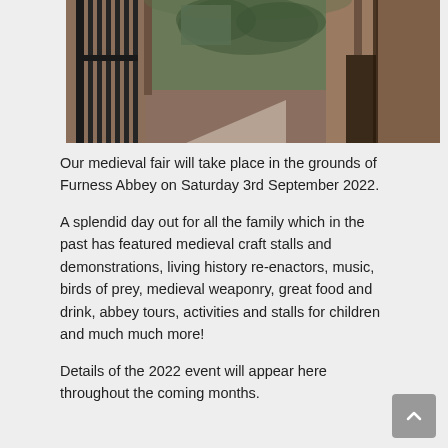[Figure (photo): Photograph of the entrance to Furness Abbey, showing iron gates open to a stone archway with a courtyard and trees visible beyond, brick/stone walls on either side.]
Our medieval fair will take place in the grounds of Furness Abbey on Saturday 3rd September 2022.
A splendid day out for all the family which in the past has featured medieval craft stalls and demonstrations, living history re-enactors, music, birds of prey, medieval weaponry, great food and drink, abbey tours, activities and stalls for children and much much more!
Details of the 2022 event will appear here throughout the coming months.